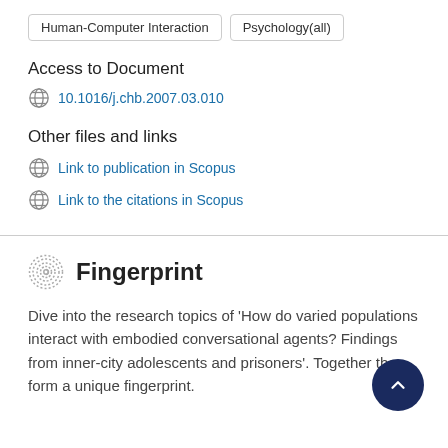Human-Computer Interaction   Psychology(all)
Access to Document
10.1016/j.chb.2007.03.010
Other files and links
Link to publication in Scopus
Link to the citations in Scopus
Fingerprint
Dive into the research topics of 'How do varied populations interact with embodied conversational agents? Findings from inner-city adolescents and prisoners'. Together they form a unique fingerprint.